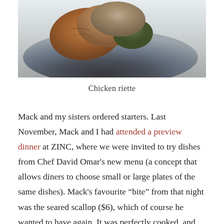[Figure (photo): Close-up photo of a chicken riette dish served on a dark plate, showing golden-brown fried or seared food items]
Chicken riette
Mack and my sisters ordered starters. Last November, Mack and I had attended a preview dinner at ZINC, where we were invited to try dishes from Chef David Omar’s new menu (a concept that allows diners to choose small or large plates of the same dishes). Mack’s favourite “bite” from that night was the seared scallop ($6), which of course he wanted to have again. It was perfectly cooked, and just the right size to relieve his